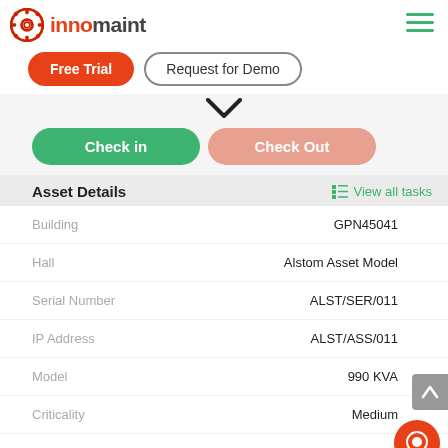innomaint
Free Trial
Request for Demo
Check in
Check Out
Asset Details
View all tasks
| Field | Value |
| --- | --- |
| Building | GPN45041 |
| Hall | Alstom Asset Model |
| Serial Number | ALST/SER/011 |
| IP Address | ALST/ASS/011 |
| Model | 990 KVA |
| Criticality | Medium |
| Customer Name | SMI AMS Equipments |